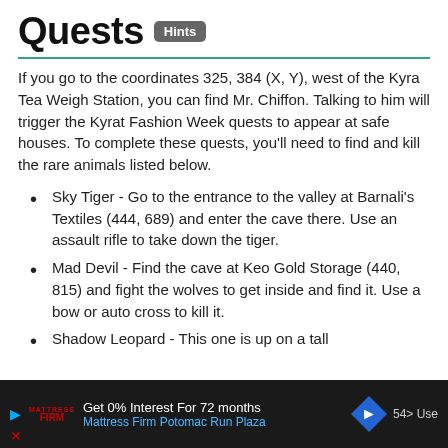Quests Hints
If you go to the coordinates 325, 384 (X, Y), west of the Kyra Tea Weigh Station, you can find Mr. Chiffon. Talking to him will trigger the Kyrat Fashion Week quests to appear at safe houses. To complete these quests, you'll need to find and kill the rare animals listed below.
Sky Tiger - Go to the entrance to the valley at Barnali's Textiles (444, 689) and enter the cave there. Use an assault rifle to take down the tiger.
Mad Devil - Find the cave at Keo Gold Storage (440, 815) and fight the wolves to get inside and find it. Use a bow or auto cross to kill it.
Shadow Leopard - This one is up on a tall
Get 0% Interest For 72 months Mattress Firm Potomac Run Plaza